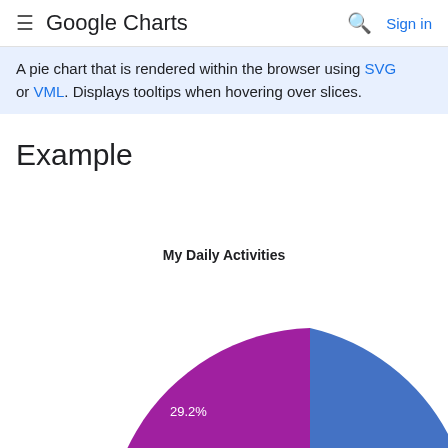Google Charts — Sign in
A pie chart that is rendered within the browser using SVG or VML. Displays tooltips when hovering over slices.
Example
[Figure (pie-chart): Partial pie chart visible, showing a magenta/purple slice labeled 29.2% and a blue slice to the right. Chart is cropped at the bottom of the page.]